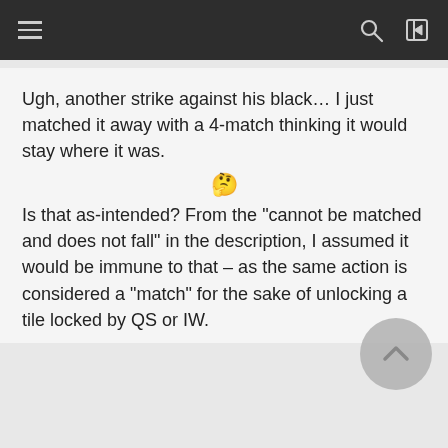Navigation bar with hamburger menu, search and login icons
Ugh, another strike against his black… I just matched it away with a 4-match thinking it would stay where it was.

🤔

Is that as-intended? From the "cannot be matched and does not fall" in the description, I assumed it would be immune to that – as the same action is considered a "match" for the sake of unlocking a tile locked by QS or IW.
notamutant  Posts: 855  Critical Contributor
November 2015
Marc Spector wrote:
Ugh, another strike against his black… I just